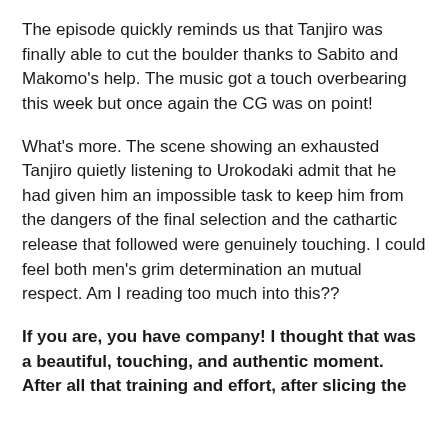The episode quickly reminds us that Tanjiro was finally able to cut the boulder thanks to Sabito and Makomo's help. The music got a touch overbearing this week but once again the CG was on point!
What's more. The scene showing an exhausted Tanjiro quietly listening to Urokodaki admit that he had given him an impossible task to keep him from the dangers of the final selection and the cathartic release that followed were genuinely touching. I could feel both men's grim determination an mutual respect. Am I reading too much into this??
If you are, you have company! I thought that was a beautiful, touching, and authentic moment. After all that training and effort, after slicing the